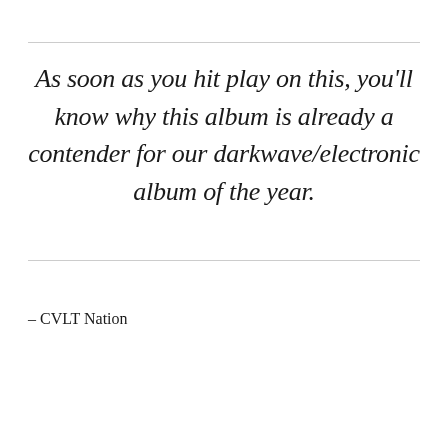As soon as you hit play on this, you'll know why this album is already a contender for our darkwave/electronic album of the year.
– CVLT Nation